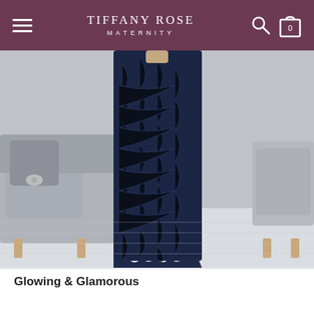TIFFANY ROSE MATERNITY
[Figure (photo): A woman in a floor-length navy blue lace maternity gown standing in front of an elegant grey sofa with decorative brooches, in a bright room with white wood flooring.]
Glowing & Glamorous